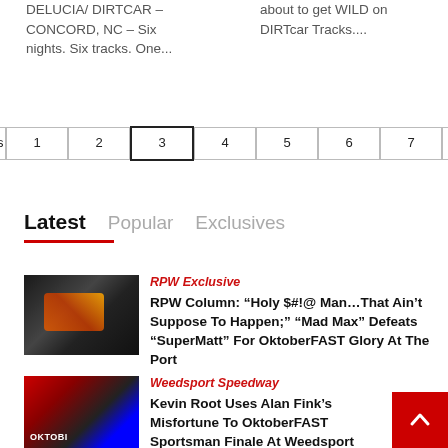DELUCIA/ DIRTCAR – CONCORD, NC – Six nights. Six tracks. One...
about to get WILD on DIRTcar Tracks....
Previous  1  2  3  4  5  6  7  Next
Latest  Popular  Exclusives
RPW Exclusive
RPW Column: “Holy $#!@ Man…That Ain’t Suppose To Happen;” “Mad Max” Defeats “SuperMatt” For OktoberFAST Glory At The Port
Weedsport Speedway
Kevin Root Uses Alan Fink’s Misfortune To OktoberFAST Sportsman Finale At Weedsport